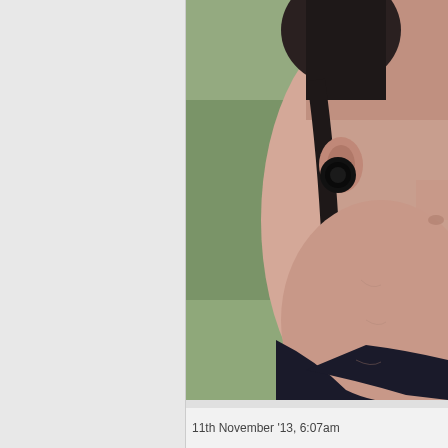[Figure (photo): Close-up side profile photo of a person showing their ear with a large black gauge/plug earring, neck, and partial face. Person has dark hair and is wearing a dark top. Background is green/blurred outdoor scenery.]
11th November '13, 6:07am